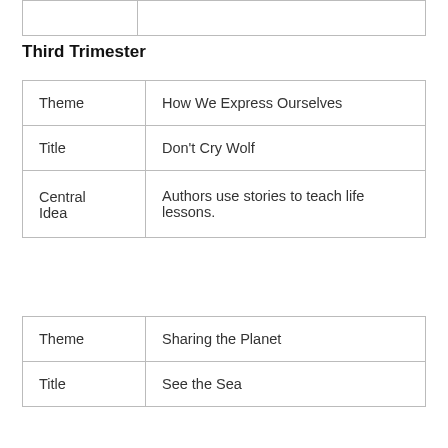|  |  |
Third Trimester
| Theme | How We Express Ourselves |
| Title | Don't Cry Wolf |
| Central Idea | Authors use stories to teach life lessons. |
| Theme | Sharing the Planet |
| Title | See the Sea |